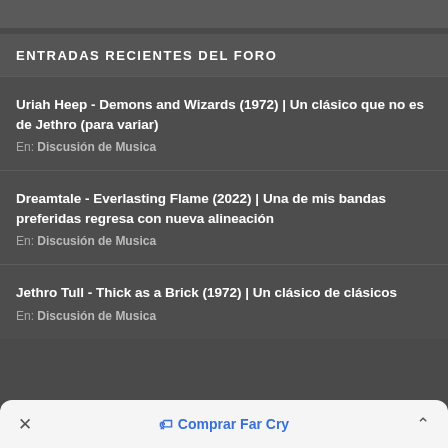ENTRADAS RECIENTES DEL FORO
Uriah Heep - Demons and Wizards (1972) | Un clásico que no es de Jethro (para variar)
En: Discusión de Musica
Dreamtale - Everlasting Flame (2022) | Una de mis bandas preferidas regresa con nueva alineación
En: Discusión de Musica
Jethro Tull - Thick as a Brick (1972) | Un clásico de clásicos
En: Discusión de Musica
× 🏷 Comprar Far Cry ^